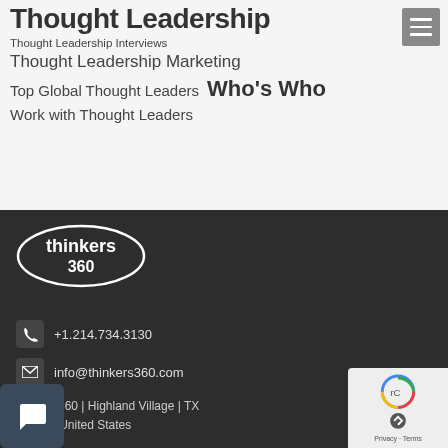Thought Leadership
Thought Leadership Interviews
Thought Leadership Marketing
Top Global Thought Leaders   Who's Who
Work with Thought Leaders
[Figure (logo): Thinkers 360 logo — white text in oval border on dark background]
+1.214.734.3130
info@thinkers360.com
thinkers360 | Highland Village | TX 75077 | United States
Privacy · Terms